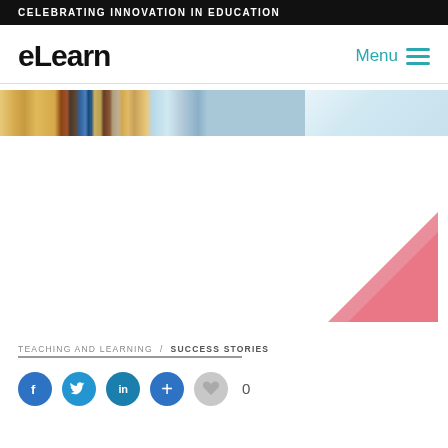CELEBRATING INNOVATION IN EDUCATION
eLearn
Menu
[Figure (photo): Bookshelf with colorful books on wooden shelves, partial image strip]
TEACHING AND LEARNING / SUCCESS STORIES
[Figure (illustration): Pink angular decorative shape in bottom right area]
Social share buttons: Facebook, Twitter, LinkedIn, Plus, Heart with count 0